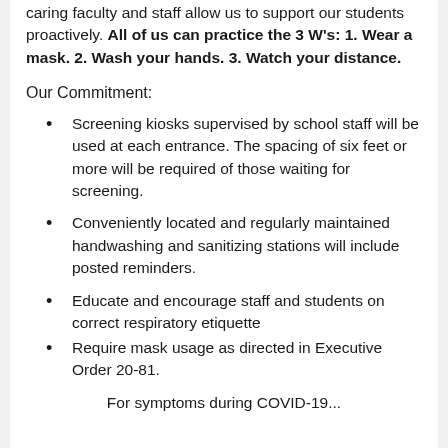caring faculty and staff allow us to support our students proactively. All of us can practice the 3 W's: 1. Wear a mask. 2. Wash your hands. 3. Watch your distance.
Our Commitment:
Screening kiosks supervised by school staff will be used at each entrance. The spacing of six feet or more will be required of those waiting for screening.
Conveniently located and regularly maintained handwashing and sanitizing stations will include posted reminders.
Educate and encourage staff and students on correct respiratory etiquette
Require mask usage as directed in Executive Order 20-81.
For symptoms during COVID-19...